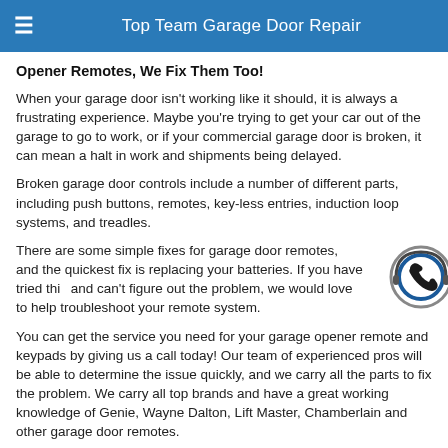Top Team Garage Door Repair
Opener Remotes, We Fix Them Too!
When your garage door isn't working like it should, it is always a frustrating experience. Maybe you're trying to get your car out of the garage to go to work, or if your commercial garage door is broken, it can mean a halt in work and shipments being delayed.
Broken garage door controls include a number of different parts, including push buttons, remotes, key-less entries, induction loop systems, and treadles.
There are some simple fixes for garage door remotes, and the quickest fix is replacing your batteries. If you have tried this and can't figure out the problem, we would love to help troubleshoot your remote system.
You can get the service you need for your garage opener remote and keypads by giving us a call today! Our team of experienced pros will be able to determine the issue quickly, and we carry all the parts to fix the problem. We carry all top brands and have a great working knowledge of Genie, Wayne Dalton, Lift Master, Chamberlain and other garage door remotes.
[Figure (illustration): Phone/headset call icon with circular border in dark blue and grey tones]